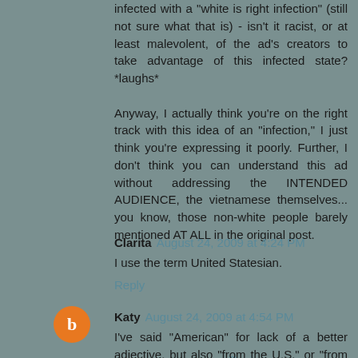infected with a "white is right infection" (still not sure what that is) - isn't it racist, or at least malevolent, of the ad's creators to take advantage of this infected state? *laughs*

Anyway, I actually think you're on the right track with this idea of an "infection," I just think you're expressing it poorly. Further, I don't think you can understand this ad without addressing the INTENDED AUDIENCE, the vietnamese themselves... you know, those non-white people barely mentioned AT ALL in the original post.
Reply
Clarita  August 24, 2009 at 4:24 PM
I use the term United Statesian.
Reply
Katy  August 24, 2009 at 4:54 PM
I've said "American" for lack of a better adjective, but also "from the U.S." or "from the States" because I know